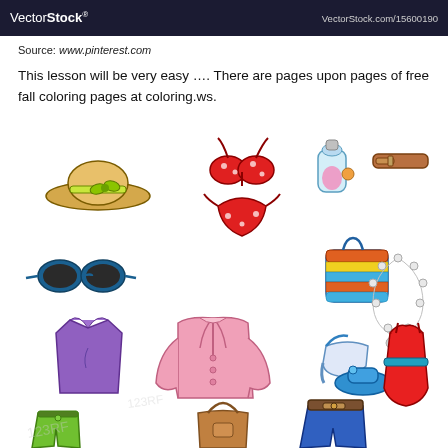VectorStock® — VectorStock.com/15600190
Source: www.pinterest.com
This lesson will be very easy …. There are pages upon pages of free fall coloring pages at coloring.ws.
[Figure (illustration): Colorful cartoon clip-art illustration of various clothing and accessories items: sun hat with bow, red polka-dot bikini, perfume bottle, brown belt, blue sunglasses, striped beach bag, pearl necklace, purple tank top, pink cardigan jacket, blue high-heel shoes, red dress, blue jeans with belt, brown handbag, green shorts — all drawn in a bright coloring-book style.]